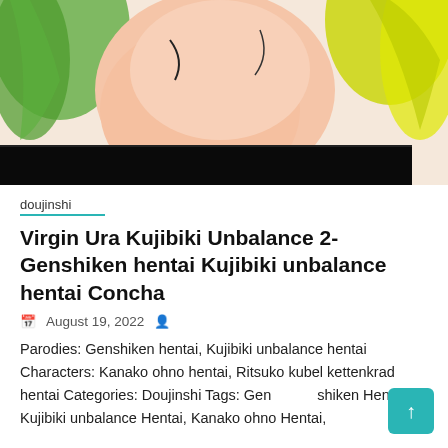[Figure (illustration): Anime/manga style illustration showing a figure with green and yellow hair against a black and white background]
doujinshi
Virgin Ura Kujibiki Unbalance 2- Genshiken hentai Kujibiki unbalance hentai Concha
August 19, 2022
Parodies: Genshiken hentai, Kujibiki unbalance hentai Characters: Kanako ohno hentai, Ritsuko kubel kettenkrad hentai Categories: Doujinshi Tags: Genshiken Hentai, Kujibiki unbalance Hentai, Kanako ohno Hentai,